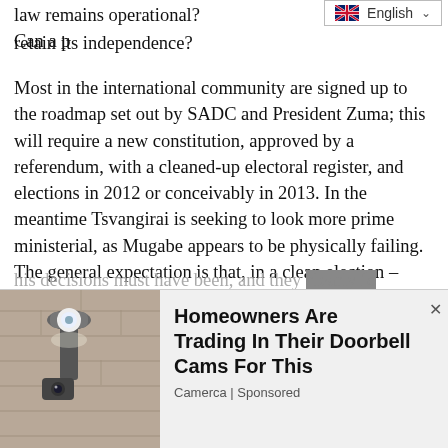law remains operational? Can a p[ress] retain its independence?
[Figure (screenshot): Language selector widget showing UK flag and 'English' with dropdown chevron]
Most in the international community are signed up to the roadmap set out by SADC and President Zuma; this will require a new constitution, approved by a referendum, with a cleaned-up electoral register, and elections in 2012 or conceivably in 2013. In the meantime Tsvangirai is seeking to look more prime ministerial, as Mugabe appears to be physically failing. The general expectation is that, in a clean election – which would be unprecedented for Zimbabwe – Tsvangirai's larger MDC faction would win. The sequence could be upset by a sudden death or incapacity for Mugabe.
But what is really obvious is that, however bad Mugabe or
his decisions must have been, and they clearly...
[Figure (photo): Advertisement image showing outdoor wall-mounted light/camera fixture]
Homeowners Are Trading In Their Doorbell Cams For This
Camerca | Sponsored